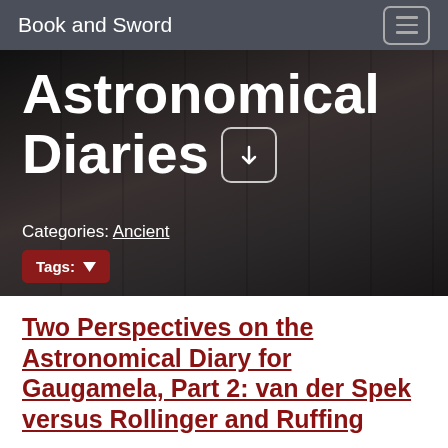Book and Sword
Astronomical Diaries
Categories: Ancient
Tags:
Two Perspectives on the Astronomical Diary for Gaugamela, Part 2: van der Spek versus Rollinger and Ruffing
Last week I discussed how two cuneiform tablets in the British Museum preserve an account of